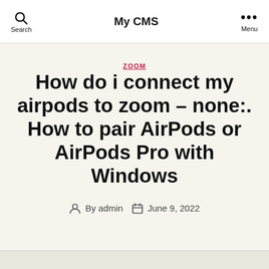My CMS
ZOOM
How do i connect my airpods to zoom – none:. How to pair AirPods or AirPods Pro with Windows
By admin   June 9, 2022